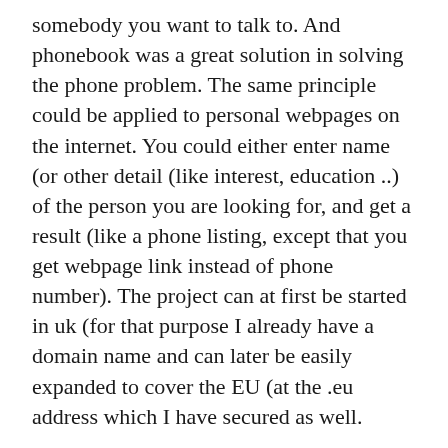somebody you want to talk to. And phonebook was a great solution in solving the phone problem. The same principle could be applied to personal webpages on the internet. You could either enter name (or other detail (like interest, education ..) of the person you are looking for, and get a result (like a phone listing, except that you get webpage link instead of phone number). The project can at first be started in uk (for that purpose I already have a domain name and can later be easily expanded to cover the EU (at the .eu address which I have secured as well.
What is the APPROACH?
It will organise personal space (every user (uk at beginning, eu later on) will be able to list their page in the “webbook”, just as they can do in a phonebook.
What are the BENEFITS to people?